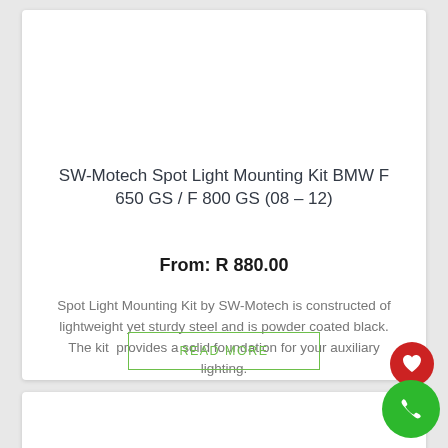SW-Motech Spot Light Mounting Kit BMW F 650 GS / F 800 GS (08 – 12)
From: R 880.00
Spot Light Mounting Kit by SW-Motech is constructed of lightweight yet sturdy steel and is powder coated black. The kit provides a solid foundation for your auxiliary lighting.
READ MORE
[Figure (other): Second product card (partially visible) with red heart floating button and green phone floating button]